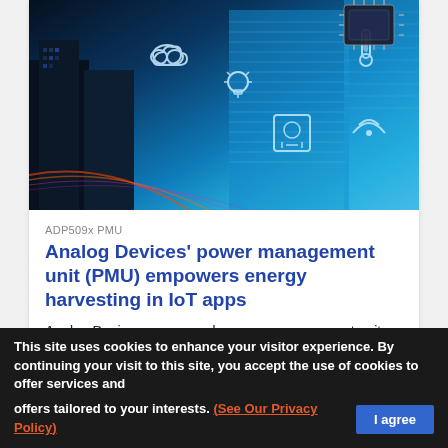[Figure (photo): Smart city IoT concept image showing city skyscrapers at night with blue digital overlay icons (cloud, lightbulb, thermometer, WiFi, circuit board) and microchips visible in the upper right corner, representing IoT and connectivity.]
ADP509x PMU
Analog Devices' power management unit (PMU) empowers energy harvesting in IoT apps
Analog Devices announced a power management unit (PMU) designed to enable faster and more efficient energy harvesting in IoT applications where energy is
This site uses cookies to enhance your visitor experience. By continuing your visit to this site, you accept the use of cookies to offer services and offers tailored to your interests. (See Our Privacy Policy)  I agree